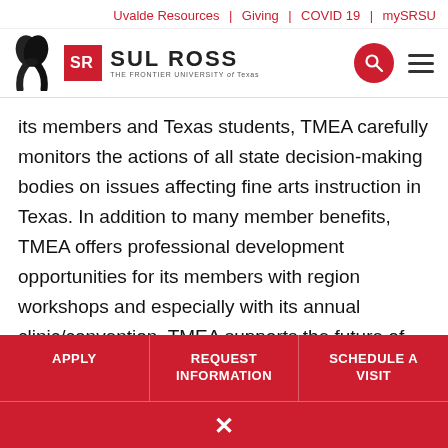Uvalde Resources | Giving | COVID 19 | mySRSU
[Figure (logo): Sul Ross State University logo with black mourning ribbon and SR logo mark]
its members and Texas students, TMEA carefully monitors the actions of all state decision-making bodies on issues affecting fine arts instruction in Texas. In addition to many member benefits, TMEA offers professional development opportunities for its members with region workshops and especially with its annual clinic/convention. TMEA supports the future of music education by offering
APPLY | REQUEST INFORMATION | SCHEDULE A VISIT | ×